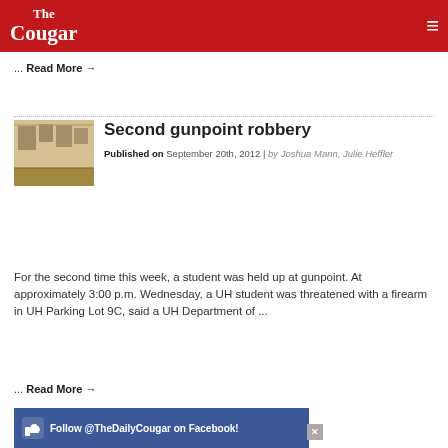The Cougar
... Read More →
Second gunpoint robbery
Published on September 20th, 2012 | by Joshua Mann, Julie Heffler
[Figure (photo): Interior hallway or corridor area with framed items on wall]
For the second time this week, a student was held up at gunpoint. At approximately 3:00 p.m. Wednesday, a UH student was threatened with a firearm in UH Parking Lot 9C, said a UH Department of ...
... Read More →
[Figure (infographic): Follow @TheDailyCougar on Facebook! banner advertisement]